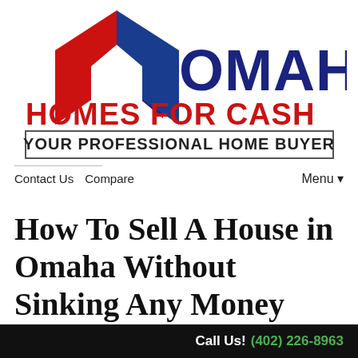[Figure (logo): Omaha Homes For Cash logo with red and blue house roof icon, 'OMAHA' in bold blue, 'HOMES FOR CASH' in bold red, and 'YOUR PROFESSIONAL HOME BUYER' in dark text on outlined banner]
Contact Us   Compare
Menu ▼
How To Sell A House in Omaha Without Sinking Any Money Into It
Call Us! (402) 226-8963